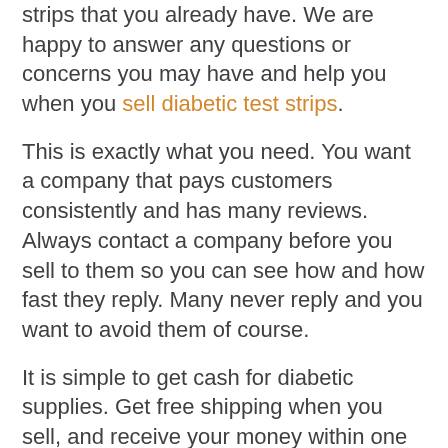strips that you already have. We are happy to answer any questions or concerns you may have and help you when you sell diabetic test strips.
This is exactly what you need. You want a company that pays customers consistently and has many reviews. Always contact a company before you sell to them so you can see how and how fast they reply. Many never reply and you want to avoid them of course.
It is simple to get cash for diabetic supplies. Get free shipping when you sell, and receive your money within one business day. America’s top buyer of test strips will buy your test strips.
Is it legal to sell my diabetic test strips?
Selling continuous glucose monitors, lancets, or diabetic test strips is legal. All of these items are available over-the-counter, without or with a